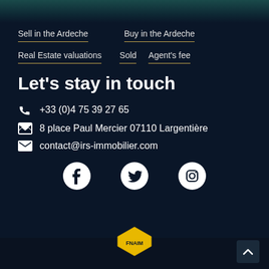Sell in the Ardeche
Buy in the Ardeche
Real Estate valuations
Sold
Agent's fee
Let's stay in touch
+33 (0)4 75 39 27 65
8 place Paul Mercier 07110 Largentière
contact@irs-immobilier.com
[Figure (logo): Facebook, Twitter, Instagram social media icons in white]
[Figure (logo): FNAIM badge logo at bottom center]